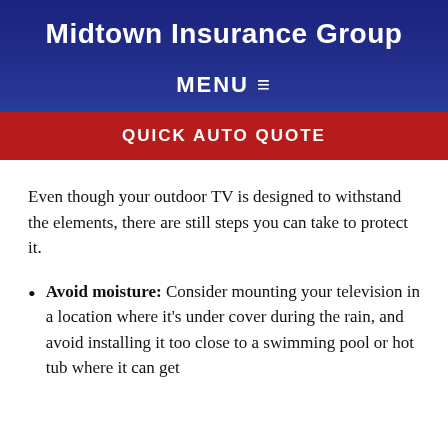Midtown Insurance Group
MENU ≡
QUICK AUTO QUOTE
Even though your outdoor TV is designed to withstand the elements, there are still steps you can take to protect it.
Avoid moisture: Consider mounting your television in a location where it's under cover during the rain, and avoid installing it too close to a swimming pool or hot tub where it can get